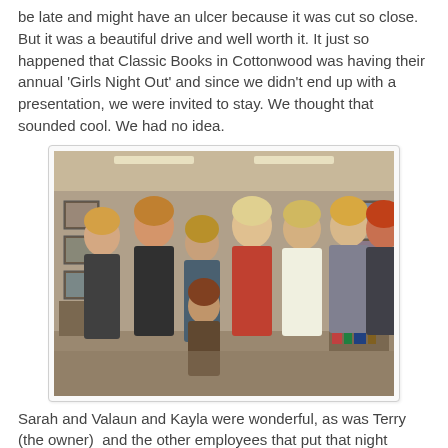be late and might have an ulcer because it was cut so close. But it was a beautiful drive and well worth it. It just so happened that Classic Books in Cottonwood was having their annual 'Girls Night Out' and since we didn't end up with a presentation, we were invited to stay. We thought that sounded cool. We had no idea.
[Figure (photo): Group photo of seven women standing together inside a bookstore, with one woman kneeling in front. The store interior shows bookshelves, artwork, and decorative items in the background.]
Sarah and Valaun and Kayla were wonderful, as was Terry (the owner)  and the other employees that put that night together. Dozens of women from the area came out, bought